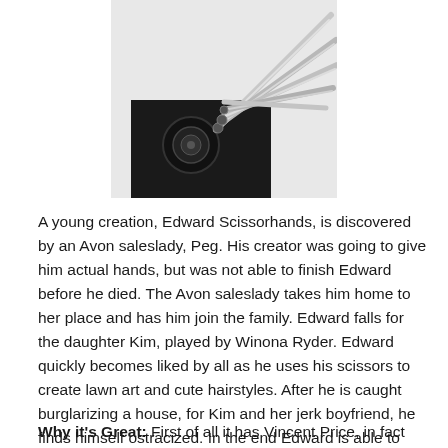[Figure (photo): Close-up photo of Edward Scissorhands' scissor hands — dark metallic blades fanned out against a white background]
A young creation, Edward Scissorhands, is discovered by an Avon saleslady, Peg. His creator was going to give him actual hands, but was not able to finish Edward before he died. The Avon saleslady takes him home to her place and has him join the family. Edward falls for the daughter Kim, played by Winona Ryder. Edward quickly becomes liked by all as he uses his scissors to create lawn art and cute hairstyles. After he is caught burglarizing a house, for Kim and her jerk boyfriend, he finds himself ostracized. In the end Edward is able to find love, his place, create more art, and make it snow.
Why it's Great: First of all it has Vincent Price, in fact this